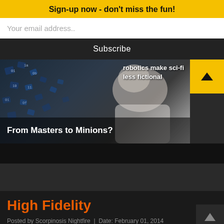Sign-up now - don't miss the fun!
Your email address..
Subscribe
[Figure (photo): A man leaning over a digital screen with binary data and letters scattering around his head, representing AI/robotics concept. Overlaid text reads 'robotics make sci-fi less fictional'. Image title below reads 'From Masters to Minions?']
High Fidelity
Posted by Scorpinosis Nightfire  |  Date: February 01, 2014